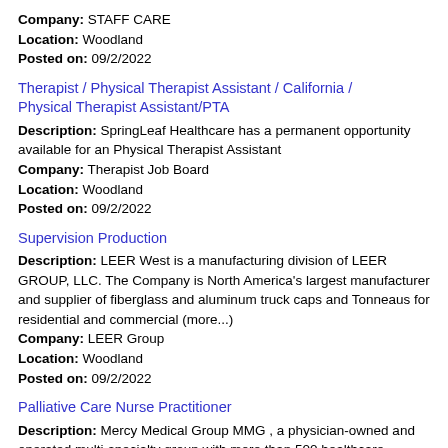Company: STAFF CARE
Location: Woodland
Posted on: 09/2/2022
Therapist / Physical Therapist Assistant / California / Physical Therapist Assistant/PTA
Description: SpringLeaf Healthcare has a permanent opportunity available for an Physical Therapist Assistant
Company: Therapist Job Board
Location: Woodland
Posted on: 09/2/2022
Supervision Production
Description: LEER West is a manufacturing division of LEER GROUP, LLC. The Company is North America's largest manufacturer and supplier of fiberglass and aluminum truck caps and Tonneaus for residential and commercial (more...)
Company: LEER Group
Location: Woodland
Posted on: 09/2/2022
Palliative Care Nurse Practitioner
Description: Mercy Medical Group MMG , a physician-owned and operated multi-specialty group with more than 500 healthcare